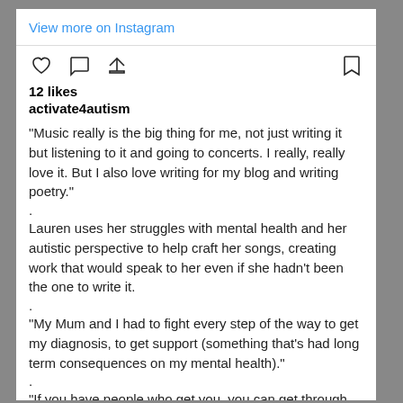View more on Instagram
[Figure (other): Instagram action icons row: heart (like), comment bubble, share/upload arrow on left; bookmark icon on right]
12 likes
activate4autism
"Music really is the big thing for me, not just writing it but listening to it and going to concerts. I really, really love it. But I also love writing for my blog and writing poetry."
.
Lauren uses her struggles with mental health and her autistic perspective to help craft her songs, creating work that would speak to her even if she hadn't been the one to write it.
.
"My Mum and I had to fight every step of the way to get my diagnosis, to get support (something that's had long term consequences on my mental health)."
.
"If you have people who get you, you can get through anything."
.
"It might be a big group or you might be able to count